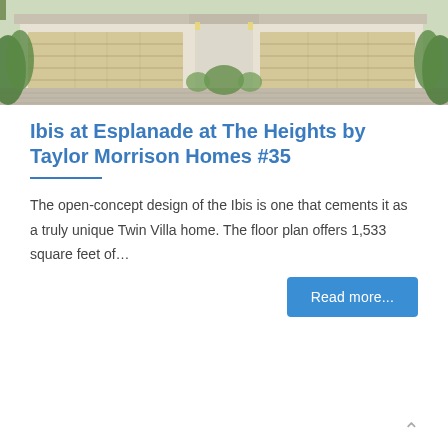[Figure (photo): Exterior photo of a Twin Villa home with two tan garage doors, paver driveway, and tropical landscaping]
Ibis at Esplanade at The Heights by Taylor Morrison Homes #35
The open-concept design of the Ibis is one that cements it as a truly unique Twin Villa home. The floor plan offers 1,533 square feet of…
Read more...